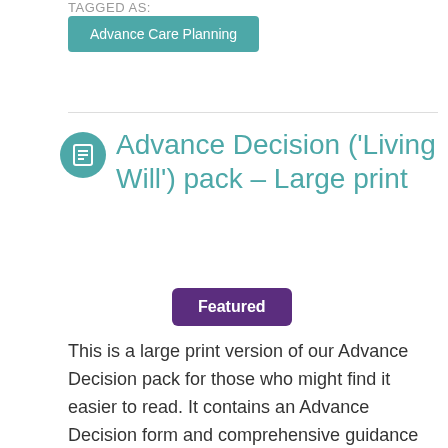TAGGED AS:
Advance Care Planning
Advance Decision ('Living Will') pack – Large print
Featured
This is a large print version of our Advance Decision pack for those who might find it easier to read. It contains an Advance Decision form and comprehensive guidance notes explaining